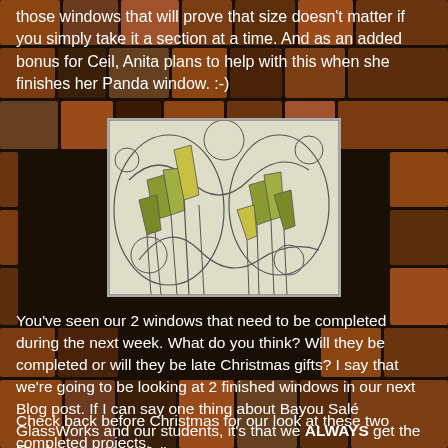those windows that will prove that size doesn't matter if you simply take it a section at a time. And as an added bonus for Ceil, Anita plans to help with this when she finishes her Panda window. :-)
[Figure (illustration): A stained glass pattern design showing tall grass or reeds with flowing curved lines on a light background, partially colored with olive/yellow-green hues.]
You've seen our 2 windows that need to be completed during the next week. What do you think? Will they be completed or will they be late Christmas gifts? I say that we're going to be looking at 2 finished windows in our next Blog post. If I can say one thing about Bayou Salé GlassWorks and our students, it's that we ALWAYS get the job done-- Without fail.
Check back before Christmas for our look at these two completed projects.
Paul